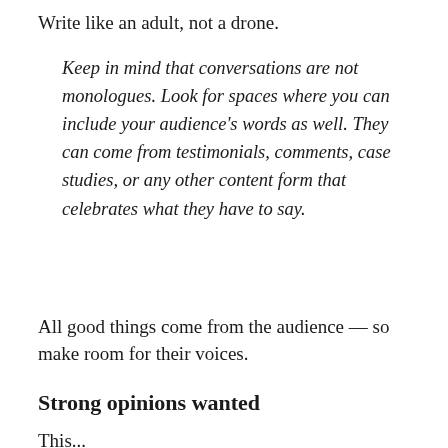Write like an adult, not a drone.
Keep in mind that conversations are not monologues. Look for spaces where you can include your audience's words as well. They can come from testimonials, comments, case studies, or any other content form that celebrates what they have to say.
All good things come from the audience — so make room for their voices.
Strong opinions wanted
This...